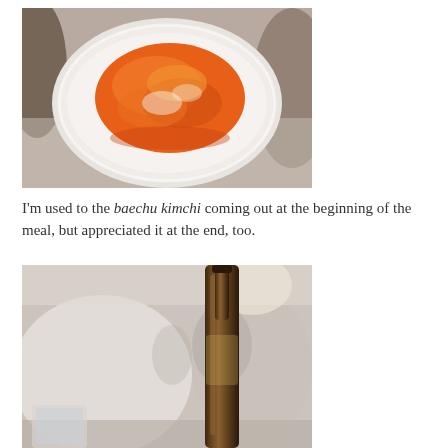[Figure (photo): Close-up photo of baechu kimchi (fermented napa cabbage) served in a small white square dish, with orange-red sauce visible, on a light surface.]
I'm used to the baechu kimchi coming out at the beginning of the meal, but appreciated it at the end, too.
[Figure (photo): Photo of a dark brown beer bottle on a restaurant table with a glass partially visible on the left, and blurred diners in the background.]